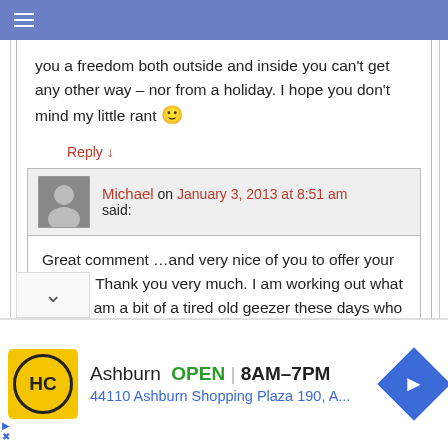≡
you a freedom both outside and inside you can't get any other way – nor from a holiday. I hope you don't mind my little rant 🙂
Reply ↓
Michael on January 3, 2013 at 8:51 am said:
Great comment …and very nice of you to offer your advice. Thank you very much. I am working out what to do. I am a bit of a tired old geezer these days who lacks the motivation of past years. I find it hard to simply look for a home
[Figure (screenshot): Advertisement banner for HC (Home depot / hardware store) showing Ashburn location OPEN 8AM-7PM, address 44110 Ashburn Shopping Plaza 190, A..., with yellow HC logo circle, blue navigation diamond icon]